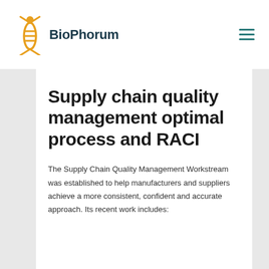[Figure (logo): BioPhorum logo with orange figure/DNA icon and teal BioPhorum wordmark text]
Supply chain quality management optimal process and RACI
The Supply Chain Quality Management Workstream was established to help manufacturers and suppliers achieve a more consistent, confident and accurate approach. Its recent work includes: